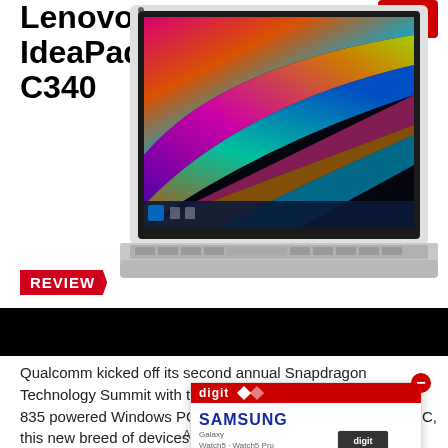Lenovo IdeaPad C340
[Figure (logo): Digit magazine logo in red and white]
[Figure (photo): Lenovo IdeaPad C340 laptop open showing colorful abstract wallpaper]
REVIEW
[Figure (photo): Black bar / redacted section]
Qualcomm kicked off its second annual Snapdragon Technology Summit with the announcement of Snapdragon 835 powered Windows PCs. Called the Always Connected PC, this new breed of devices will be on cellular LTE networks offering day-long battery life.
[Figure (other): Samsung Galaxy Watch/Watch Pro advertisement overlay box with Digit branding]
Advertisements